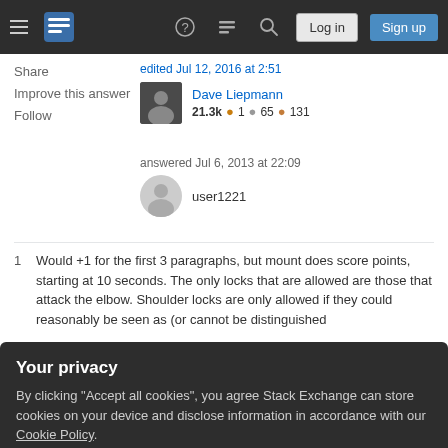Stack Exchange navigation bar with hamburger menu, logo, help, chat, search icons, Log in and Sign up buttons
Share
Improve this answer
Follow
edited Jul 12, 2016 at 2:51
Dave Liepmann
21.3k ●1 ●65 ●131
answered Jul 6, 2013 at 22:09
user1221
1   Would +1 for the first 3 paragraphs, but mount does score points, starting at 10 seconds. The only locks that are allowed are those that attack the elbow. Shoulder locks are only allowed if they could reasonably be seen as (or cannot be distinguished
Your privacy
By clicking "Accept all cookies", you agree Stack Exchange can store cookies on your device and disclose information in accordance with our Cookie Policy.
Accept all cookies   Customize settings
mount, I meant you don't get points the same way from